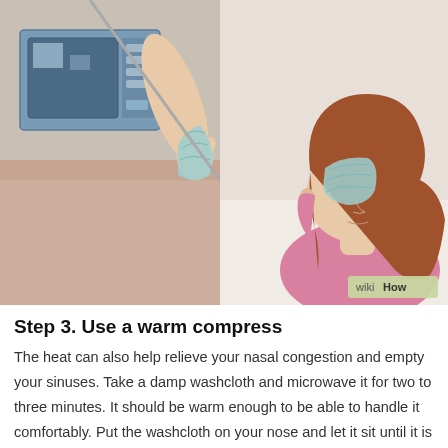[Figure (illustration): WikiHow illustration split diagonally: left side shows a hand holding a damp washcloth near a microwave; right side shows a woman with brown hair in a pink top applying the warm washcloth to her nose, tilting her head back.]
Step 3. Use a warm compress
The heat can also help relieve your nasal congestion and empty your sinuses. Take a damp washcloth and microwave it for two to three minutes. It should be warm enough to be able to handle it comfortably. Put the washcloth on your nose and let it sit until it is cold. Repeat as many